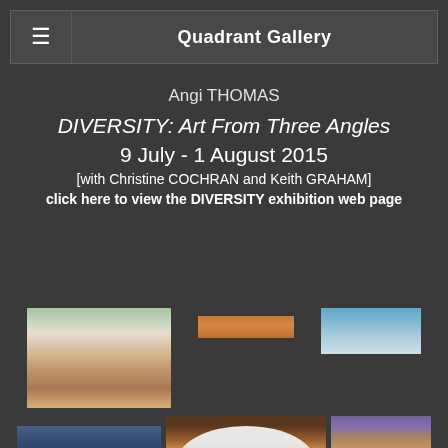Quadrant Gallery
Angi THOMAS
DIVERSITY: Art From Three Angles
9 July - 1 August 2015
[with Christine COCHRAN and Keith GRAHAM]
click here to view the DIVERSITY exhibition web page
[Figure (photo): Six artwork thumbnail images arranged in two rows of three. Row 1: coastal landscape painting, small orange/brown horizontal bar painting, small seascape/sky painting. Row 2: small dark landscape strip, oval abstract painting with warm earth tones, tall red rock formation painting.]